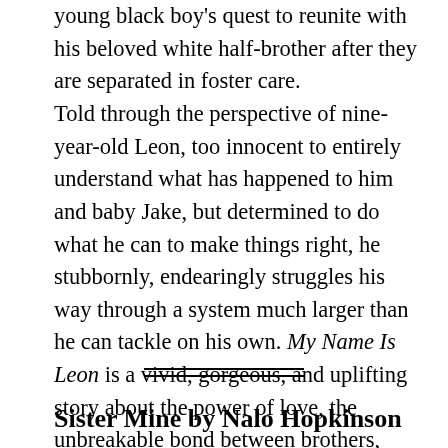young black boy's quest to reunite with his beloved white half-brother after they are separated in foster care.
Told through the perspective of nine-year-old Leon, too innocent to entirely understand what has happened to him and baby Jake, but determined to do what he can to make things right, he stubbornly, endearingly struggles his way through a system much larger than he can tackle on his own. My Name Is Leon is a vivid, gorgeous, and uplifting story about the power of love, the unbreakable bond between brothers, and the truth about what, in the end, ultimately makes a family.
Sister Mine by Nalo Hopkinson